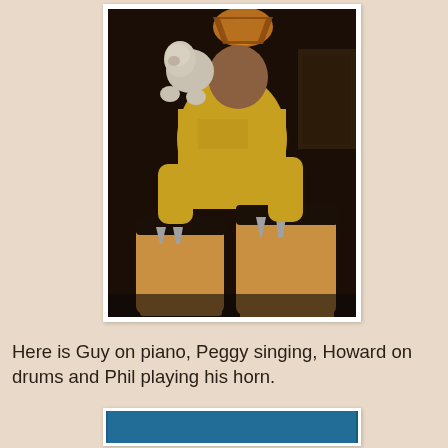[Figure (photo): A man in a yellow long-sleeve shirt holding a fluffy white/gray dog, standing behind two wooden conga drums. The setting appears to be a home interior with warm lighting from a lamp overhead. The photo has a white border like a printed photograph.]
Here is Guy on piano, Peggy singing, Howard on drums and Phil playing his horn.
[Figure (photo): Partial view of a second photograph at the bottom of the page, showing what appears to be a blue/teal background, likely a group photo or music scene.]